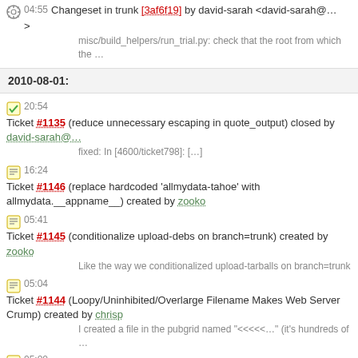04:55 Changeset in trunk [3af6f19] by david-sarah <david-sarah@…> misc/build_helpers/run_trial.py: check that the root from which the …
2010-08-01:
20:54 Ticket #1135 (reduce unnecessary escaping in quote_output) closed by david-sarah@… fixed: In [4600/ticket798]: […]
16:24 Ticket #1146 (replace hardcoded 'allmydata-tahoe' with allmydata.__appname__) created by zooko
05:41 Ticket #1145 (conditionalize upload-debs on branch=trunk) created by zooko Like the way we conditionalized upload-tarballs on branch=trunk
05:04 Ticket #1144 (Loopy/Uninhibited/Overlarge Filename Makes Web Server Crump) created by chrisp I created a file in the pubgrid named "<<<<…" (it's hundreds of …
05:00 Ticket #1143 (Double Encoding in HTML in File Names in WUI) created by chrisp My file "zumby-bumby ; mail blaggy@… < /etc/hosts" in the …
04:56 Ticket #1142 (Unlikely XSS Potential in File Names in WUI) created by chrisp